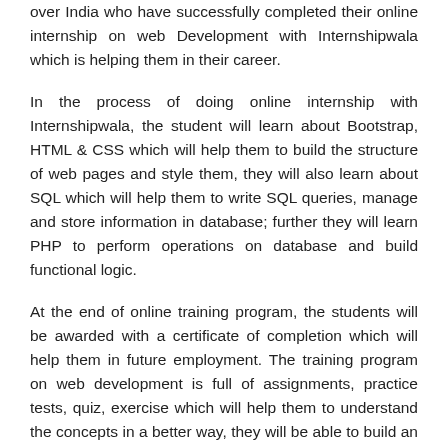over India who have successfully completed their online internship on web Development with Internshipwala which is helping them in their career.
In the process of doing online internship with Internshipwala, the student will learn about Bootstrap, HTML & CSS which will help them to build the structure of web pages and style them, they will also learn about SQL which will help them to write SQL queries, manage and store information in database; further they will learn PHP to perform operations on database and build functional logic.
At the end of online training program, the students will be awarded with a certificate of completion which will help them in future employment. The training program on web development is full of assignments, practice tests, quiz, exercise which will help them to understand the concepts in a better way, they will be able to build an e-commerce website from scratch. Students also get to interact with Industry Experts and work on live projects from the Industry.